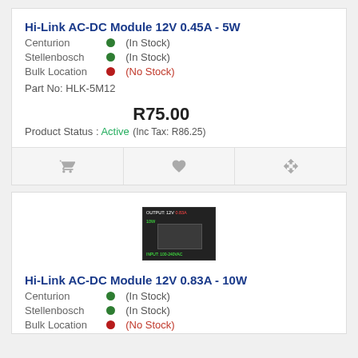Hi-Link AC-DC Module 12V 0.45A - 5W
Centurion (In Stock)
Stellenbosch (In Stock)
Bulk Location (No Stock)
Part No: HLK-5M12
Product Status : Active
R75.00
(Inc Tax: R86.25)
[Figure (other): Action bar with cart, wishlist, and compare icons]
[Figure (photo): Hi-Link AC-DC Module 12V 0.83A - 10W product image, black rectangular module with OUTPUT: 12V 0.83A, 10W label and INPUT: 100-240VAC label]
Hi-Link AC-DC Module 12V 0.83A - 10W
Centurion (In Stock)
Stellenbosch (In Stock)
Bulk Location (No Stock)